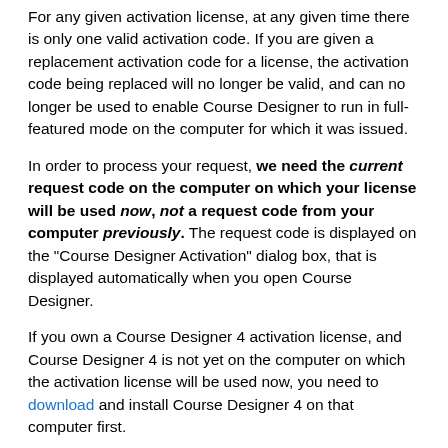For any given activation license, at any given time there is only one valid activation code. If you are given a replacement activation code for a license, the activation code being replaced will no longer be valid, and can no longer be used to enable Course Designer to run in full-featured mode on the computer for which it was issued.
In order to process your request, we need the current request code on the computer on which your license will be used now, not a request code from your computer previously. The request code is displayed on the "Course Designer Activation" dialog box, that is displayed automatically when you open Course Designer.
If you own a Course Designer 4 activation license, and Course Designer 4 is not yet on the computer on which the activation license will be used now, you need to download and install Course Designer 4 on that computer first.